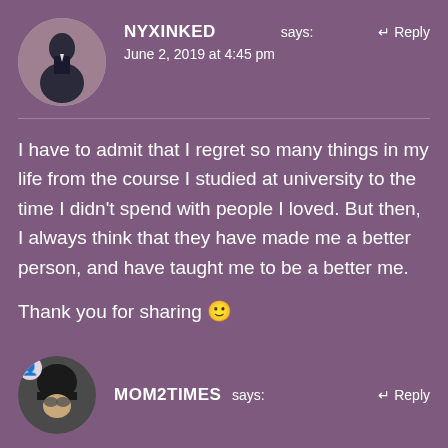NYXINKED says:
June 2, 2019 at 4:45 pm
I have to admit that I regret so many things in my life from the course I studied at university to the time I didn't spend with people I loved. But then, I always think that they have made me a better person, and have taught me to be a better me.
Thank you for sharing 🙂
Like
MOM2TIMES says: